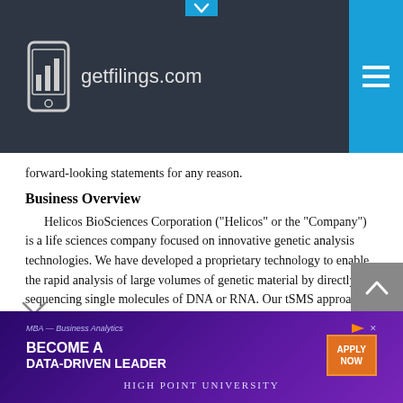[Figure (logo): getfilings.com logo with bar chart phone icon on dark navy header bar with blue hamburger menu button]
forward-looking statements for any reason.
Business Overview
Helicos BioSciences Corporation ("Helicos" or the "Company") is a life sciences company focused on innovative genetic analysis technologies. We have developed a proprietary technology to enable the rapid analysis of large volumes of genetic material by directly sequencing single molecules of DNA or RNA. Our tSMS approach differs from current methods of sequencing DNA or RNA because it analyzes individual molecules of DNA directly instead of requiring a large number of copies of the molecule which must be produced
[Figure (advertisement): MBA Business Analytics advertisement - Become a Data-Driven Leader - High Point University - Apply Now button]